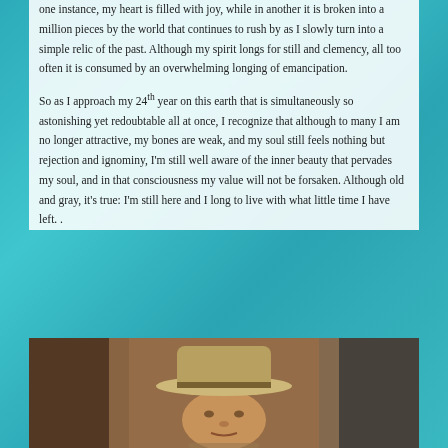one instance, my heart is filled with joy, while in another it is broken into a million pieces by the world that continues to rush by as I slowly turn into a simple relic of the past. Although my spirit longs for still and clemency, all too often it is consumed by an overwhelming longing of emancipation.
So as I approach my 24th year on this earth that is simultaneously so astonishing yet redoubtable all at once, I recognize that although to many I am no longer attractive, my bones are weak, and my soul still feels nothing but rejection and ignominy, I'm still well aware of the inner beauty that pervades my soul, and in that consciousness my value will not be forsaken. Although old and gray, it's true: I'm still here and I long to live with what little time I have left. .
[Figure (photo): Photograph of an elderly person wearing a wide-brimmed hat, shown from the shoulders up, with a warm indoor background visible.]